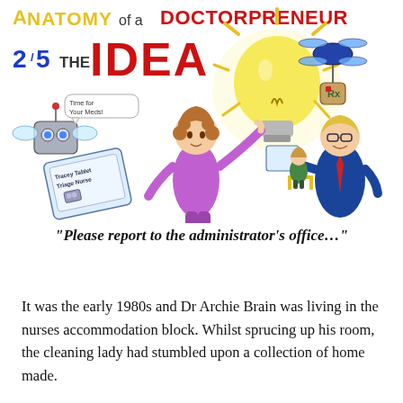[Figure (illustration): Colorful cartoon illustration titled 'Anatomy of a Doctorpreneur — 2/5 The Idea'. Shows a large glowing lightbulb held by a nurse in purple scrubs who has a robot fly nearby saying 'Time for your Meds!', a tablet showing 'Tracey Tablet Triage Nurse', a drone with a medical bag, and a doctor in a blue suit holding a tablet showing a child patient sitting on a chair.]
“Please report to the administrator’s office…”
It was the early 1980s and Dr Archie Brain was living in the nurses accommodation block. Whilst sprucing up his room, the cleaning lady had stumbled upon a collection of home made.